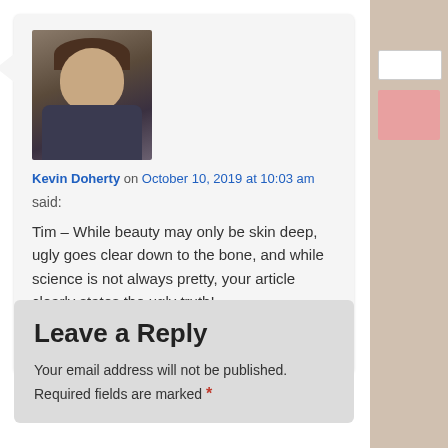[Figure (photo): Profile photo of Kevin Doherty — a man in dark clothing, slightly smiling]
Kevin Doherty on October 10, 2019 at 10:03 am said:
Tim – While beauty may only be skin deep, ugly goes clear down to the bone, and while science is not always pretty, your article clearly states the ugly truth!
Reply ↓
Leave a Reply
Your email address will not be published. Required fields are marked *